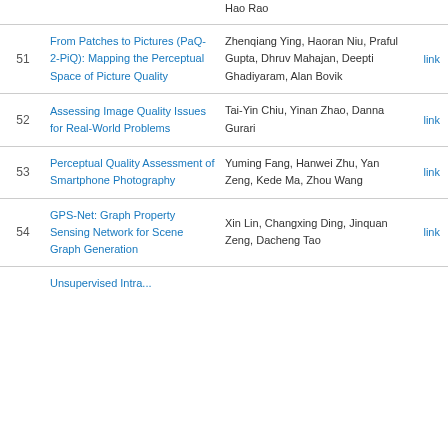| # | Title | Authors | Link |
| --- | --- | --- | --- |
| 51 | From Patches to Pictures (PaQ-2-PiQ): Mapping the Perceptual Space of Picture Quality | Zhenqiang Ying, Haoran Niu, Praful Gupta, Dhruv Mahajan, Deepti Ghadiyaram, Alan Bovik | link |
| 52 | Assessing Image Quality Issues for Real-World Problems | Tai-Yin Chiu, Yinan Zhao, Danna Gurari | link |
| 53 | Perceptual Quality Assessment of Smartphone Photography | Yuming Fang, Hanwei Zhu, Yan Zeng, Kede Ma, Zhou Wang | link |
| 54 | GPS-Net: Graph Property Sensing Network for Scene Graph Generation | Xin Lin, Changxing Ding, Jinquan Zeng, Dacheng Tao | link |
|  | Unsupervised Intra... |  |  |